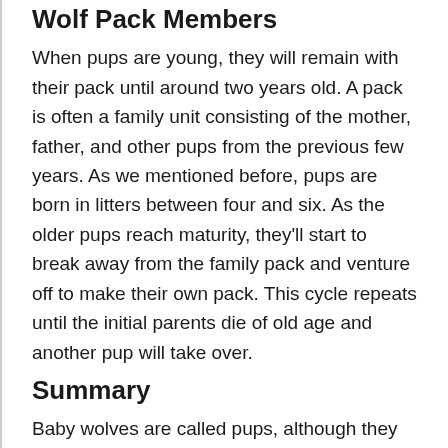Wolf Pack Members
When pups are young, they will remain with their pack until around two years old. A pack is often a family unit consisting of the mother, father, and other pups from the previous few years. As we mentioned before, pups are born in litters between four and six. As the older pups reach maturity, they'll start to break away from the family pack and venture off to make their own pack. This cycle repeats until the initial parents die of old age and another pup will take over.
Summary
Baby wolves are called pups, although they used to be called cubs. Wolf pups are born in litters with four to six littermates and grow into their full size within six to twelve months. They'll reach maturity at around two years of age and leave their first pack to make their own. At this point, they'll officially no longer be considered wolf pups.